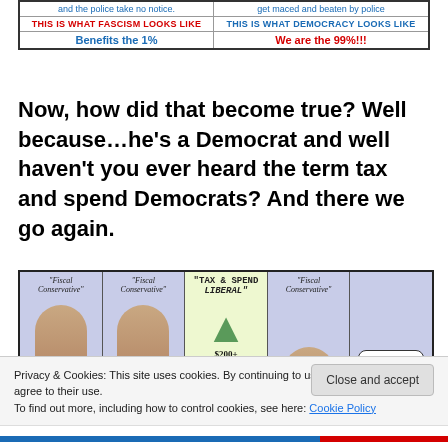[Figure (table-as-image): Two-column comparison table: left column 'THIS IS WHAT FASCISM LOOKS LIKE / Benefits the 1%', right column 'THIS IS WHAT DEMOCRACY LOOKS LIKE / We are the 99%!!!']
Now, how did that become true? Well because…he's a Democrat and well haven't you ever heard the term tax and spend Democrats? And there we go again.
[Figure (illustration): Political cartoon showing four panels labeled 'Fiscal Conservative' with a middle panel labeled 'TAX & SPEND LIBERAL' showing a $200+ BILLION SURPLUS arrow, and a rightmost figure with speech bubble saying 'MY FRIENDS, YOU'LL BE PLEASED TO KNOW I'M A FISCAL CONSERVATIVE.']
Privacy & Cookies: This site uses cookies. By continuing to use this website, you agree to their use.
To find out more, including how to control cookies, see here: Cookie Policy